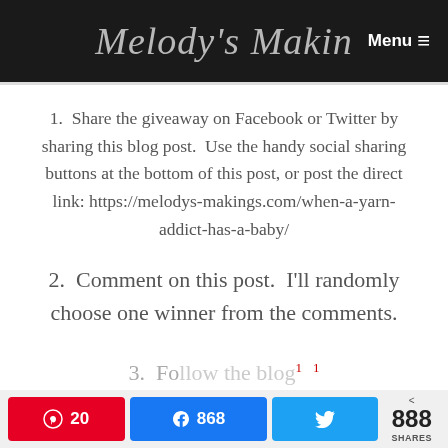Melody's Makir  Menu ≡
1.  Share the giveaway on Facebook or Twitter by sharing this blog post.  Use the handy social sharing buttons at the bottom of this post, or post the direct link: https://melodys-makings.com/when-a-yarn-addict-has-a-baby/
2.  Comment on this post.  I'll randomly choose one winner from the comments.
Pinterest 20  Facebook 868  Twitter  < 888 SHARES